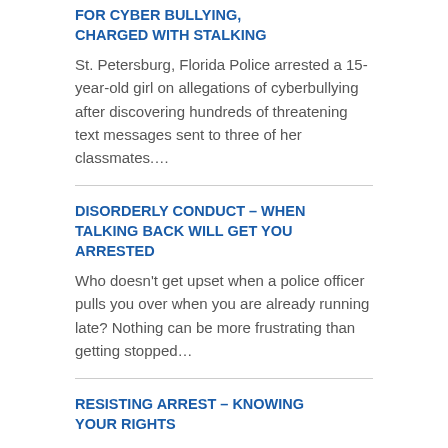FOR CYBER BULLYING, CHARGED WITH STALKING
St. Petersburg, Florida Police arrested a 15-year-old girl on allegations of cyberbullying after discovering hundreds of threatening text messages sent to three of her classmates.…
DISORDERLY CONDUCT – WHEN TALKING BACK WILL GET YOU ARRESTED
Who doesn't get upset when a police officer pulls you over when you are already running late?  Nothing can be more frustrating than getting stopped…
RESISTING ARREST – KNOWING YOUR RIGHTS
Resisting arrest is one thing, assaulting an officer in the process is